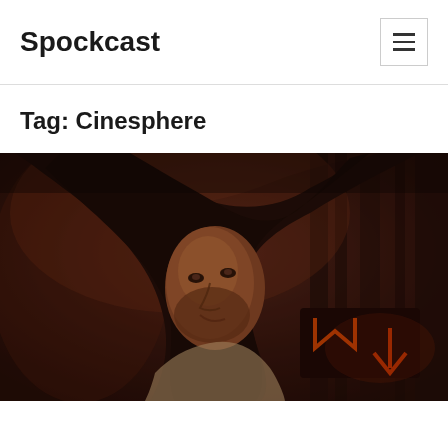Spockcast
Tag: Cinesphere
[Figure (photo): A person in a dark hooded cloak looking sideways in a dimly lit, reddish-brown atmospheric scene with neon signs in the background]